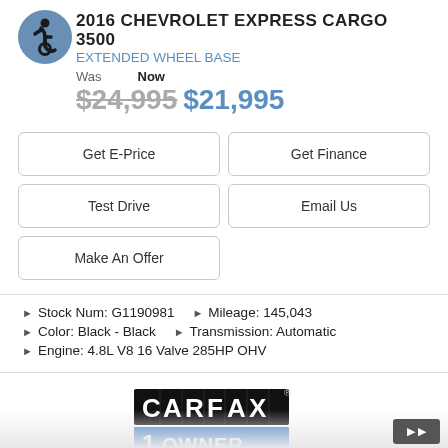2016 CHEVROLET EXPRESS CARGO 3500
EXTENDED WHEEL BASE
Was   Now
$24,995 $21,995
Get E-Price
Get Finance
Test Drive
Email Us
Make An Offer
Stock Num: G1190981   Mileage: 145,043
Color: Black - Black   Transmission: Automatic
Engine: 4.8L V8 16 Valve 285HP OHV
[Figure (logo): CARFAX 1 OWNER GREAT VALUE badge logo]